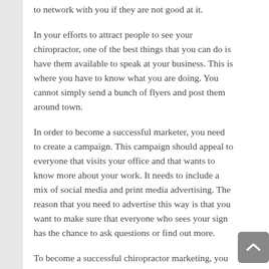to network with you if they are not good at it.
In your efforts to attract people to see your chiropractor, one of the best things that you can do is have them available to speak at your business. This is where you have to know what you are doing. You cannot simply send a bunch of flyers and post them around town.
In order to become a successful marketer, you need to create a campaign. This campaign should appeal to everyone that visits your office and that wants to know more about your work. It needs to include a mix of social media and print media advertising. The reason that you need to advertise this way is that you want to make sure that everyone who sees your sign has the chance to ask questions or find out more.
To become a successful chiropractor marketing, you have to get some referrals from friends and family. The best way to do this is to post information about your